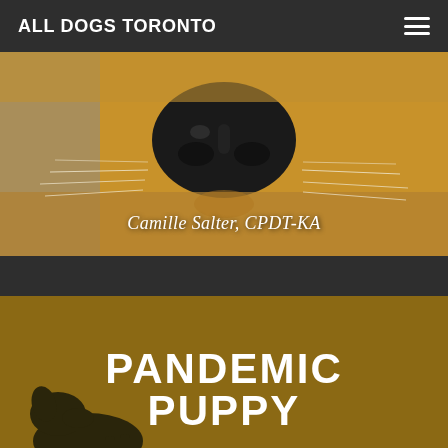ALL DOGS TORONTO
[Figure (photo): Close-up photo of a golden retriever's nose and snout, with the text 'Camille Salter, CPDT-KA' overlaid in white italic serif font at the bottom of the image.]
[Figure (photo): Promotional image with a golden/dark yellow background showing a dog silhouette and the text 'PANDEMIC PUPPY' in large bold white uppercase letters.]